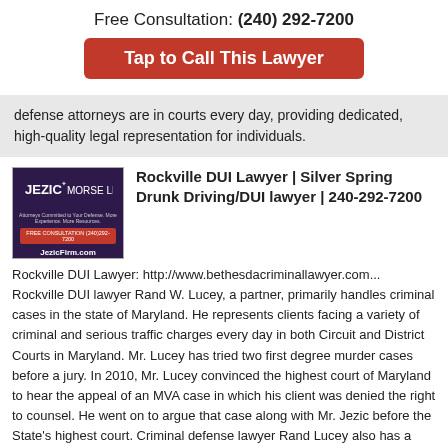Free Consultation: (240) 292-7200
Tap to Call This Lawyer
defense attorneys are in courts every day, providing dedicated, high-quality legal representation for individuals.
Rockville DUI Lawyer | Silver Spring Drunk Driving/DUI lawyer | 240-292-7200
Rockville DUI Lawyer: http://www.bethesdacriminallawyer.com... Rockville DUI lawyer Rand W. Lucey, a partner, primarily handles criminal cases in the state of Maryland. He represents clients facing a variety of criminal and serious traffic charges every day in both Circuit and District Courts in Maryland. Mr. Lucey has tried two first degree murder cases before a jury. In 2010, Mr. Lucey convinced the highest court of Maryland to hear the appeal of an MVA case in which his client was denied the right to counsel. He went on to argue that case along with Mr. Jezic before the State's highest court. Criminal defense lawyer Rand Lucey also has a successful coram nobis and post-conviction practice, seeking relief for clients who are suffering immigration consequences or other collateral consequences of criminal convictions. In 2010, Mr. Lucey and Andrew Jezic convinced a Howard County Circuit Court Judge, in a coram nobis petition, to grant a new trial for their client who had pled guilty to killing